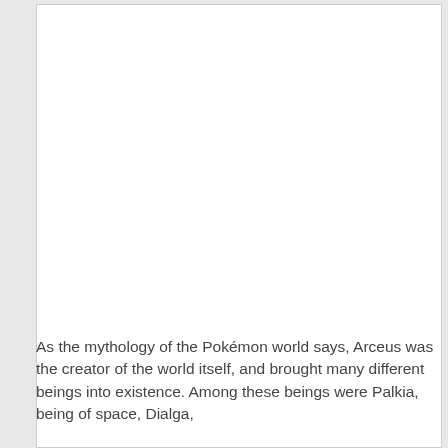[Figure (photo): Large white blank image area occupying the upper portion of the page inside a bordered rectangle]
As the mythology of the Pokémon world says, Arceus was the creator of the world itself, and brought many different beings into existence. Among these beings were Palkia, being of space, Dialga,